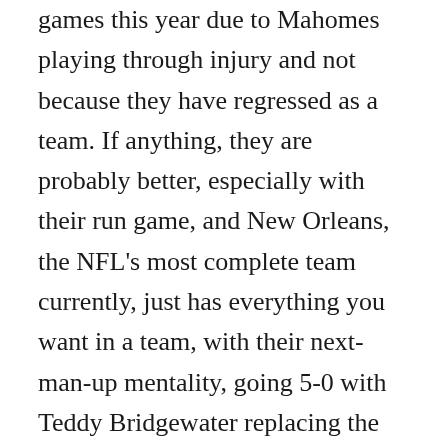games this year due to Mahomes playing through injury and not because they have regressed as a team. If anything, they are probably better, especially with their run game, and New Orleans, the NFL's most complete team currently, just has everything you want in a team, with their next-man-up mentality, going 5-0 with Teddy Bridgewater replacing the injured Drew Brees and Latavius Murray replacing the injured Alvin Kamara, and their big-play ability on defense as well. So,